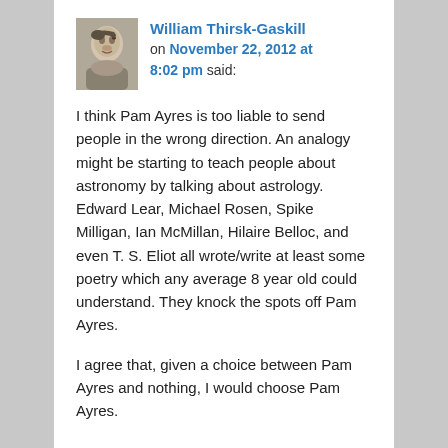William Thirsk-Gaskill on November 22, 2012 at 8:02 pm said:
I think Pam Ayres is too liable to send people in the wrong direction. An analogy might be starting to teach people about astronomy by talking about astrology. Edward Lear, Michael Rosen, Spike Milligan, Ian McMillan, Hilaire Belloc, and even T. S. Eliot all wrote/write at least some poetry which any average 8 year old could understand. They knock the spots off Pam Ayres.
I agree that, given a choice between Pam Ayres and nothing, I would choose Pam Ayres.